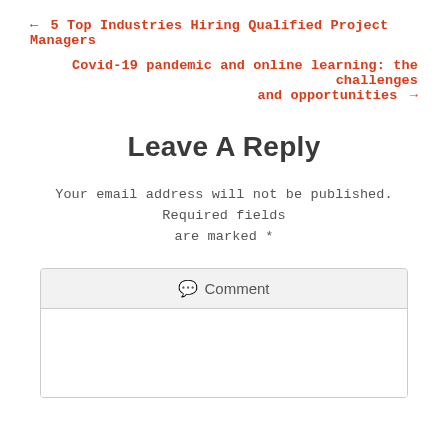← 5 Top Industries Hiring Qualified Project Managers
Covid-19 pandemic and online learning: the challenges and opportunities →
Leave A Reply
Your email address will not be published. Required fields are marked *
💬 Comment